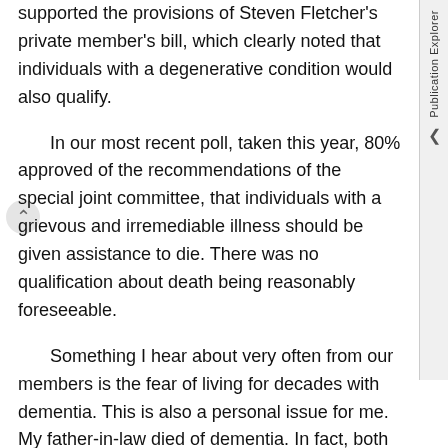supported the provisions of Steven Fletcher's private member's bill, which clearly noted that individuals with a degenerative condition would also qualify.
In our most recent poll, taken this year, 80% approved of the recommendations of the special joint committee, that individuals with a grievous and irremediable illness should be given assistance to die. There was no qualification about death being reasonably foreseeable.
Something I hear about very often from our members is the fear of living for decades with dementia. This is also a personal issue for me. My father-in-law died of dementia. In fact, both of my in-laws did, but my father-in-law's death was particularly difficult. He was in England, and as many people do with that disease, he became aggressive at the
Publication Explorer